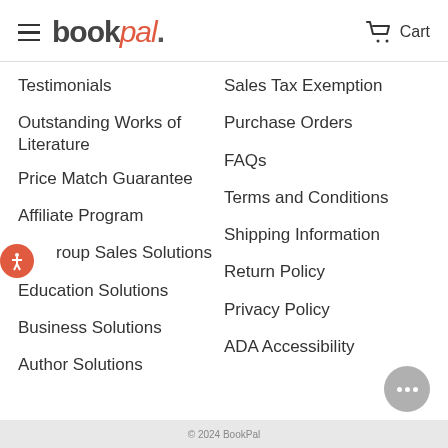bookpal. Cart
Testimonials
Sales Tax Exemption
Outstanding Works of Literature
Purchase Orders
FAQs
Price Match Guarantee
Terms and Conditions
Affiliate Program
Shipping Information
Group Sales Solutions
Return Policy
Education Solutions
Privacy Policy
Business Solutions
ADA Accessibility
Author Solutions
© 2024 BookPal